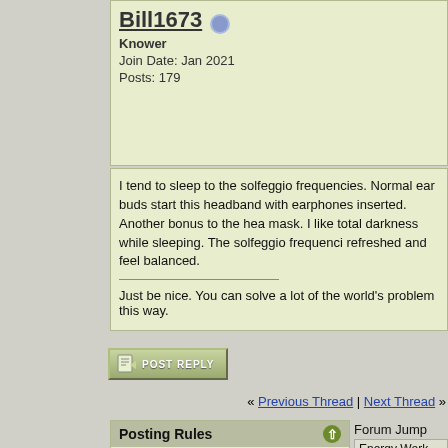Bill1673 [online] Knower Join Date: Jan 2021 Posts: 179
I tend to sleep to the solfeggio frequencies. Normal ear buds start this headband with earphones inserted. Another bonus to the hea... mask. I like total darkness while sleeping. The solfeggio frequenci... refreshed and feel balanced.

Just be nice. You can solve a lot of the world's problem this way.
[Figure (screenshot): Post Reply button with document icon]
« Previous Thread | Next Thread »
Posting Rules
You may not post new threads
You may not post replies
You may not post attachments
You may not edit your posts
vB code is On
Smilies are On
[IMG] code is On
HTML code is Off
Forum Jump
Energy Work